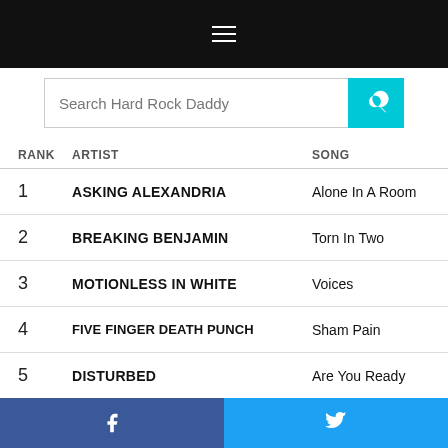Search Hard Rock Daddy
| RANK | ARTIST | SONG |
| --- | --- | --- |
| 1 | ASKING ALEXANDRIA | Alone In A Room |
| 2 | BREAKING BENJAMIN | Torn In Two |
| 3 | MOTIONLESS IN WHITE | Voices |
| 4 | FIVE FINGER DEATH PUNCH | Sham Pain |
| 5 | DISTURBED | Are You Ready |
| 6 | BAD WOLVES (f. DIAMANTE) | Hear Me Now |